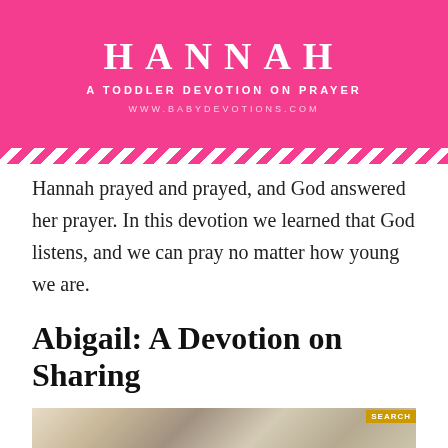[Figure (illustration): Pink banner with the word HANNAH in large white serif bold letters, subtitle 'A TODDLER DEVOTION ON PRAYER' in white bold sans-serif, and URL 'WWW.BABYDEVOTIONS.COM' in light white text. Bottom has a diagonal pink and white stripe bar.]
Hannah prayed and prayed, and God answered her prayer. In this devotion we learned that God listens, and we can pray no matter how young we are.
Abigail: A Devotion on Sharing
[Figure (photo): Partial photo of children outdoors, appears to show a picnic or outdoor sharing scene. A yellow 'SEARCH' badge is visible in the upper right corner of the photo.]